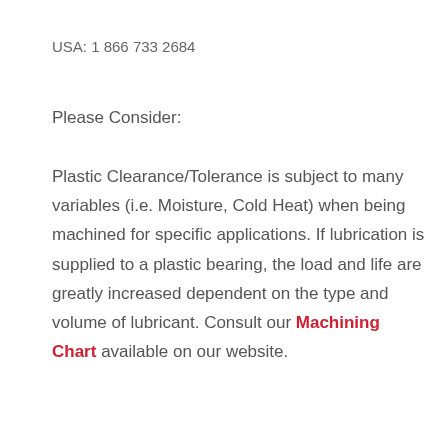USA: 1 866 733 2684
Please Consider:
Plastic Clearance/Tolerance is subject to many variables (i.e. Moisture, Cold Heat) when being machined for specific applications. If lubrication is supplied to a plastic bearing, the load and life are greatly increased dependent on the type and volume of lubricant. Consult our Machining Chart available on our website.